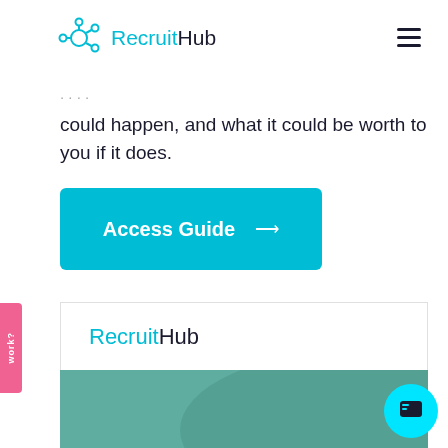RecruitHub
could happen, and what it could be worth to you if it does.
[Figure (other): Access Guide button with arrow]
RecruitHub
[Figure (other): Teal/green colored block section at bottom of page]